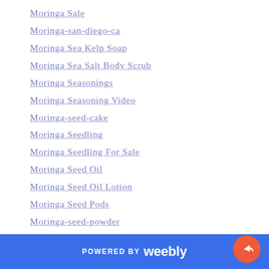Moringa Sale
Moringa-san-diego-ca
Moringa Sea Kelp Soap
Moringa Sea Salt Body Scrub
Moringa Seasonings
Moringa Seasoning Video
Moringa-seed-cake
Moringa Seedling
Moringa Seedling For Sale
Moringa Seed Oil
Moringa Seed Oil Lotion
Moringa Seed Pods
Moringa-seed-powder
Moringa-seeds
Moringa Shakes
Moringa Shampoo
Moringa Shampoo Bars
POWERED BY weebly